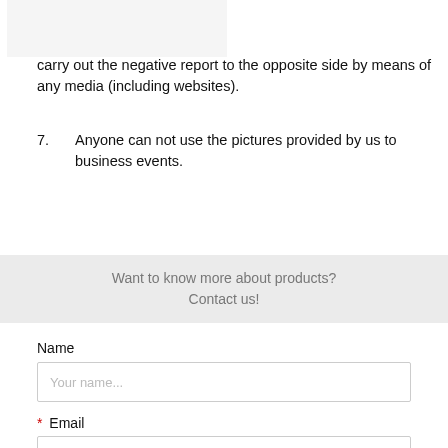[Figure (other): Light gray placeholder image block at top left]
carry out the negative report to the opposite side by means of any media (including websites).
7.    Anyone can not use the pictures provided by us to business events.
Want to know more about products? Contact us!
Name
Your name...
* Email
Your email address ...